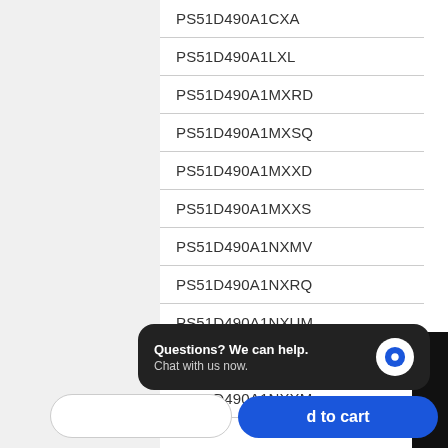| PS51D490A1CXA |
| PS51D490A1LXL |
| PS51D490A1MXRD |
| PS51D490A1MXSQ |
| PS51D490A1MXXD |
| PS51D490A1MXXS |
| PS51D490A1NXMV |
| PS51D490A1NXRQ |
| PS51D490A1NXUM |
| PS51D490A1NXXD |
| PS51D490A1NXXM |
NOTIFY WHEN AVAILABLE
Questions? We can help. Chat with us now.
d to cart